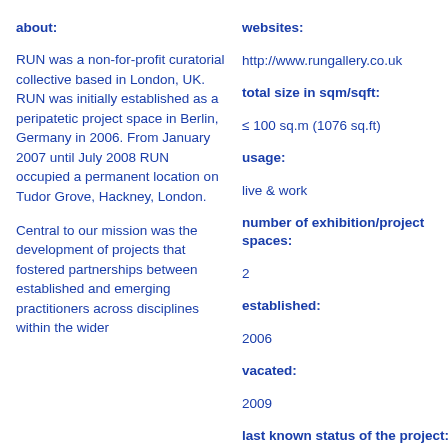about:
RUN was a non-for-profit curatorial collective based in London, UK. RUN was initially established as a peripatetic project space in Berlin, Germany in 2006. From January 2007 until July 2008 RUN occupied a permanent location on Tudor Grove, Hackney, London.
Central to our mission was the development of projects that fostered partnerships between established and emerging practitioners across disciplines within the wider
websites:
http://www.rungallery.co.uk
total size in sqm/sqft:
≤ 100 sq.m (1076 sq.ft)
usage:
live & work
number of exhibition/project spaces:
2
established:
2006
vacated:
2009
last known status of the project:
finished